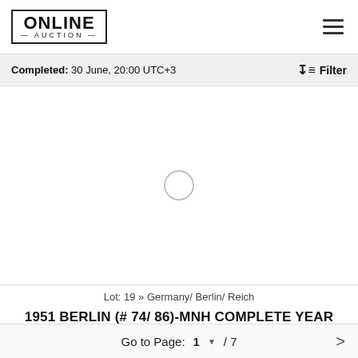[Figure (logo): Online Auction logo in a rectangular border box]
Completed: 30 June, 20:00 UTC+3   Filter
[Figure (photo): Loading spinner circle on white background]
Lot: 19 » Germany/ Berlin/ Reich
1951 BERLIN (# 74/ 86)-MNH COMPLETE YEAR SET-MICHEL CV: 335 EURO
Go to Page:  1 ▼ / 7  >